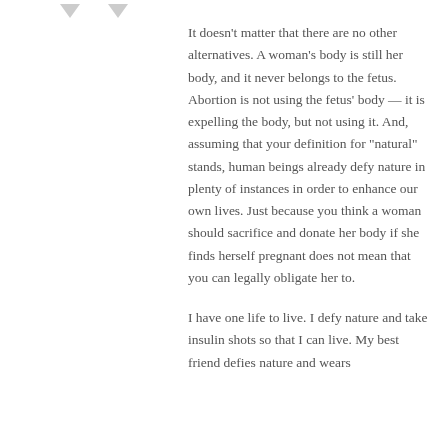It doesn't matter that there are no other alternatives. A woman's body is still her body, and it never belongs to the fetus. Abortion is not using the fetus' body — it is expelling the body, but not using it. And, assuming that your definition for "natural" stands, human beings already defy nature in plenty of instances in order to enhance our own lives. Just because you think a woman should sacrifice and donate her body if she finds herself pregnant does not mean that you can legally obligate her to.

I have one life to live. I defy nature and take insulin shots so that I can live. My best friend defies nature and wears